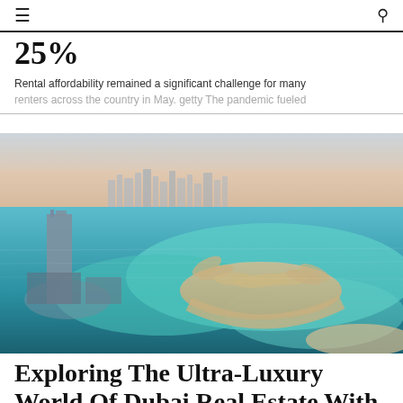≡  🔍
25%
Rental affordability remained a significant challenge for many renters across the country in May. getty The pandemic fueled
[Figure (photo): Aerial photograph of Palm Jumeirah, Dubai, showing the palm-shaped island with blue-green water, city skyline in background, and a tall skyscraper in the foreground.]
Exploring The Ultra-Luxury World Of Dubai Real Estate With Driven